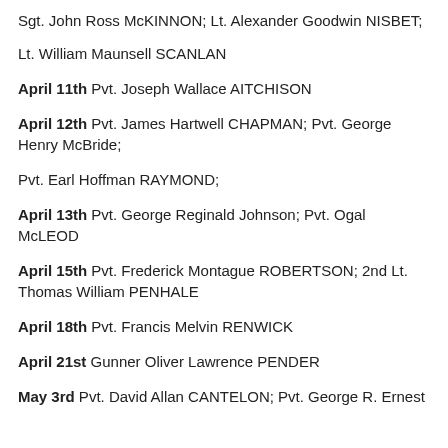Sgt. John Ross McKINNON; Lt. Alexander Goodwin NISBET;
Lt. William Maunsell SCANLAN
April 11th Pvt. Joseph Wallace AITCHISON
April 12th Pvt. James Hartwell CHAPMAN; Pvt. George Henry McBride;
Pvt. Earl Hoffman RAYMOND;
April 13th Pvt. George Reginald Johnson; Pvt. Ogal McLEOD
April 15th Pvt. Frederick Montague ROBERTSON; 2nd Lt. Thomas William PENHALE
April 18th Pvt. Francis Melvin RENWICK
April 21st Gunner Oliver Lawrence PENDER
May 3rd Pvt. David Allan CANTELON; Pvt. George R. Ernest